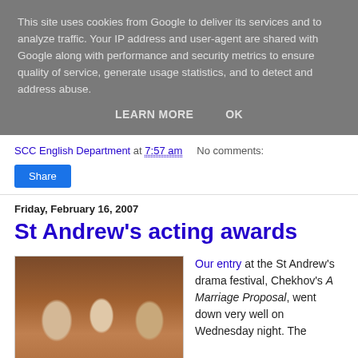This site uses cookies from Google to deliver its services and to analyze traffic. Your IP address and user-agent are shared with Google along with performance and security metrics to ensure quality of service, generate usage statistics, and to detect and address abuse.
LEARN MORE   OK
SCC English Department at 7:57 am    No comments:
Share
Friday, February 16, 2007
St Andrew's acting awards
[Figure (photo): Three students in costume seated on a couch, appearing to be in theatrical makeup and period-style costume for a play production.]
Our entry at the St Andrew's drama festival, Chekhov's A Marriage Proposal, went down very well on Wednesday night. The